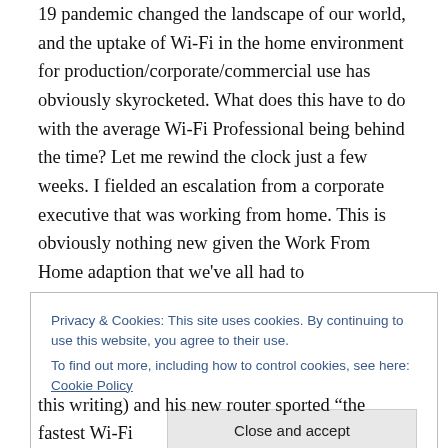19 pandemic changed the landscape of our world, and the uptake of Wi-Fi in the home environment for production/corporate/commercial use has obviously skyrocketed. What does this have to do with the average Wi-Fi Professional being behind the time? Let me rewind the clock just a few weeks. I fielded an escalation from a corporate executive that was working from home. This is obviously nothing new given the Work From Home adaption that we've all had to accommodate, but this executive in particular was fed up with his experience at home and went out and bought a new router to go with his
Privacy & Cookies: This site uses cookies. By continuing to use this website, you agree to their use.
To find out more, including how to control cookies, see here: Cookie Policy
this writing) and his new router sported "the fastest Wi-Fi